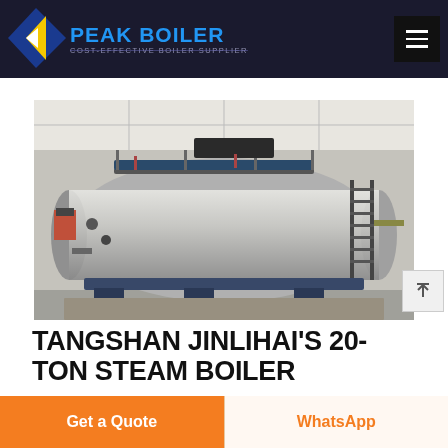PEAK BOILER – COST-EFFECTIVE BOILER SUPPLIER
[Figure (photo): A large 20-ton industrial steam boiler with shiny metallic cylindrical tank, scaffolding walkway on top, ladder on the right side, and various pipes and valves, installed inside an industrial building.]
TANGSHAN JINLIHAI'S 20-TON STEAM BOILER
Get a Quote
WhatsApp